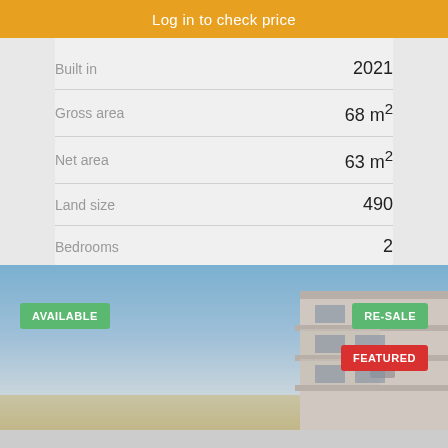Log in to check price
| Property | Value |
| --- | --- |
| Built in | 2021 |
| Gross area | 68 m² |
| Net area | 63 m² |
| Land size | 490 |
| Bedrooms | 2 |
| Type | Apartment |
| Status | Reserved |
| Monthly maintenance fee | €35 |
[Figure (photo): Exterior photo of an apartment building with sky background, showing balconies. Badges: AVAILABLE (green, top-left), RE-SALE (green, top-right), FEATURED (red, below RE-SALE).]